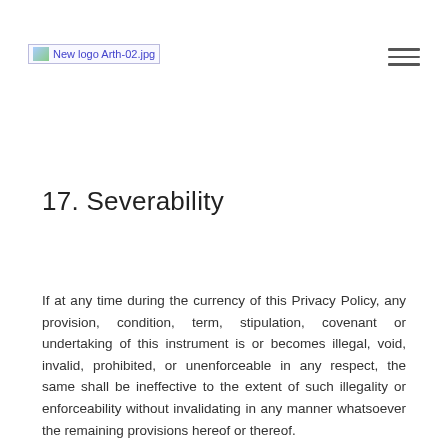New logo Arth-02.jpg [hamburger menu icon]
17. Severability
If at any time during the currency of this Privacy Policy, any provision, condition, term, stipulation, covenant or undertaking of this instrument is or becomes illegal, void, invalid, prohibited, or unenforceable in any respect, the same shall be ineffective to the extent of such illegality or enforceability without invalidating in any manner whatsoever the remaining provisions hereof or thereof.